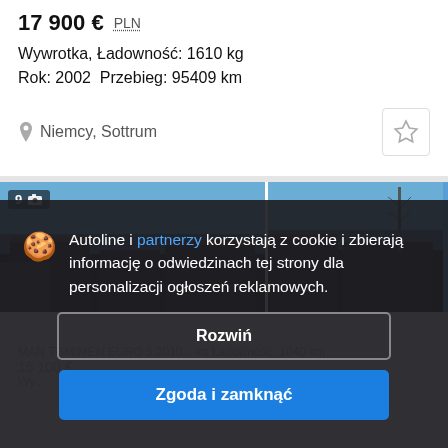17 900 € PLN
Wywrotka, Ładowność: 1610 kg
Rok: 2002  Przebieg: 95409 km
Niemcy, Sottrum
[Figure (photo): Two photos of a truck/dump truck listing. Left image shows a vehicle in front of dark industrial buildings under blue sky with badge showing '9' and camera icon. Right image shows similar scene with a communication tower visible.]
Autoline i partnerzy korzystają z cookie i zbierają informację o odwiedzinach tej strony dla personalizacji ogłoszeń reklamowych.
Rozwiń
Zgoda i zamknąć